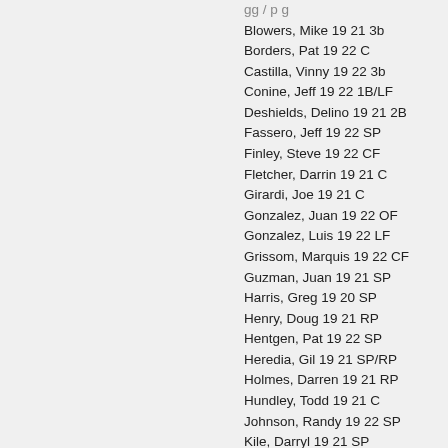Blowers, Mike 19 21 3b
Borders, Pat 19 22 C
Castilla, Vinny 19 22 3b
Conine, Jeff 19 22 1B/LF
Deshields, Delino 19 21 2B
Fassero, Jeff 19 22 SP
Finley, Steve 19 22 CF
Fletcher, Darrin 19 21 C
Girardi, Joe 19 21 C
Gonzalez, Juan 19 22 OF
Gonzalez, Luis 19 22 LF
Grissom, Marquis 19 22 CF
Guzman, Juan 19 21 SP
Harris, Greg 19 20 SP
Henry, Doug 19 21 RP
Hentgen, Pat 19 22 SP
Heredia, Gil 19 21 SP/RP
Holmes, Darren 19 21 RP
Hundley, Todd 19 21 C
Johnson, Randy 19 22 SP
Kile, Darryl 19 21 SP
Lampkin, Tom 19 21 C
Olerud, John 19 22 1B
Palmer, Dean 19 21 3b
Rhodes, Arthur 19 22 RP